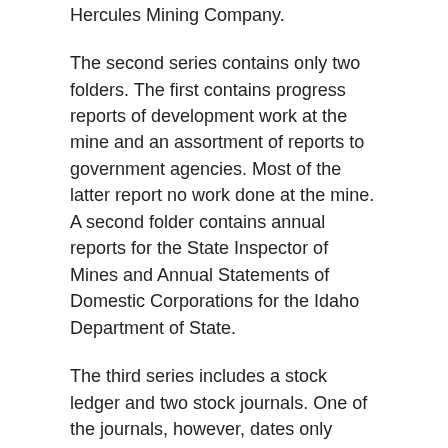Hercules Mining Company.
The second series contains only two folders. The first contains progress reports of development work at the mine and an assortment of reports to government agencies. Most of the latter report no work done at the mine. A second folder contains annual reports for the State Inspector of Mines and Annual Statements of Domestic Corporations for the Idaho Department of State.
The third series includes a stock ledger and two stock journals. One of the journals, however, dates only 1903-1906 and contains no information not in the other journal, dated 1903-1927. There is a volume of cancelled stock certificates, preserved because the stock journal ends six years before the stock ledger, and a folder of assessment records and correspondence. The latter dates primarily 1925-1935, but contains a February 1938 letter from the